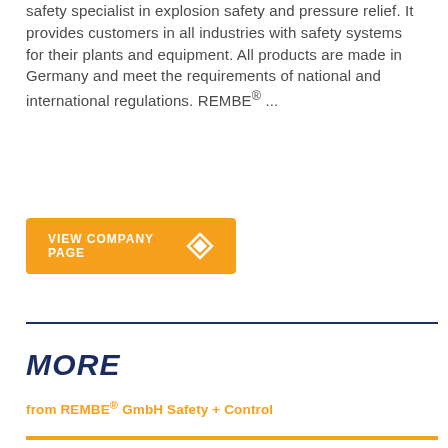safety specialist in explosion safety and pressure relief. It provides customers in all industries with safety systems for their plants and equipment. All products are made in Germany and meet the requirements of national and international regulations. REMBE® ...
[Figure (other): Orange button labeled VIEW COMPANY PAGE with a diamond-shaped icon]
MORE
from REMBE® GmbH Safety + Control